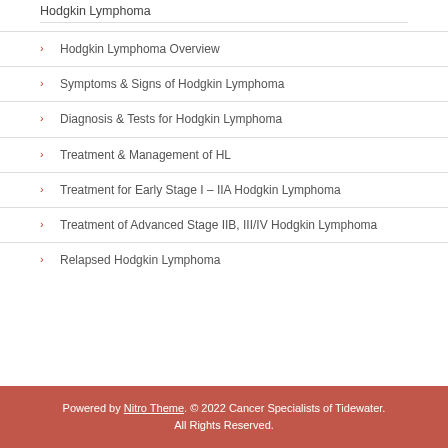Hodgkin Lymphoma
Hodgkin Lymphoma Overview
Symptoms & Signs of Hodgkin Lymphoma
Diagnosis & Tests for Hodgkin Lymphoma
Treatment & Management of HL
Treatment for Early Stage I – IIA Hodgkin Lymphoma
Treatment of Advanced Stage IIB, III/IV Hodgkin Lymphoma
Relapsed Hodgkin Lymphoma
Powered by Nitro Theme. © 2022 Cancer Specialists of Tidewater. All Rights Reserved.